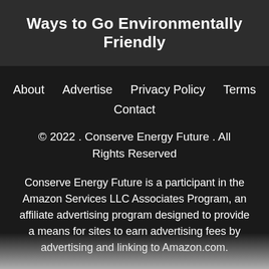Ways to Go Environmentally Friendly
About   Advertise   Privacy Policy   Terms   Contact
© 2022 . Conserve Energy Future . All Rights Reserved
Conserve Energy Future is a participant in the Amazon Services LLC Associates Program, an affiliate advertising program designed to provide a means for sites to earn advertising fees by advertising and linking to Amazon.com.